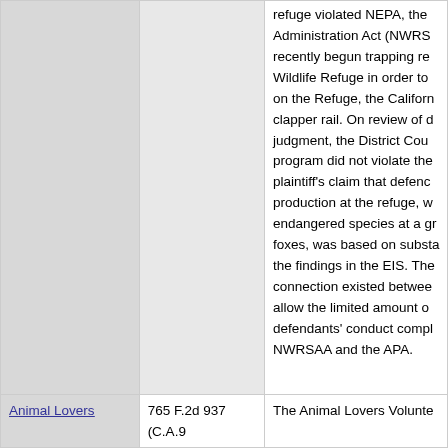refuge violated NEPA, the Administration Act (NWRS recently begun trapping re Wildlife Refuge in order to on the Refuge, the Californ clapper rail. On review of d judgment, the District Cou program did not violate the plaintiff's claim that defenc production at the refuge, w endangered species at a gr foxes, was based on substa the findings in the EIS. The connection existed betwee allow the limited amount o defendants' conduct compl NWRSAA and the APA.
Animal Lovers
765 F.2d 937 (C.A.9
The Animal Lovers Volunte